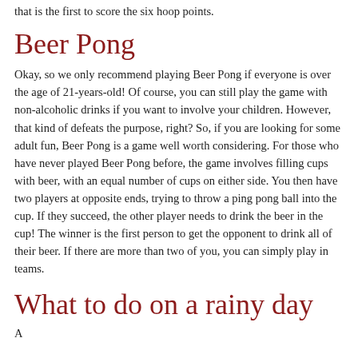that is the first to score the six hoop points.
Beer Pong
Okay, so we only recommend playing Beer Pong if everyone is over the age of 21-years-old! Of course, you can still play the game with non-alcoholic drinks if you want to involve your children. However, that kind of defeats the purpose, right? So, if you are looking for some adult fun, Beer Pong is a game well worth considering. For those who have never played Beer Pong before, the game involves filling cups with beer, with an equal number of cups on either side. You then have two players at opposite ends, trying to throw a ping pong ball into the cup. If they succeed, the other player needs to drink the beer in the cup! The winner is the first person to get the opponent to drink all of their beer. If there are more than two of you, you can simply play in teams.
What to do on a rainy day